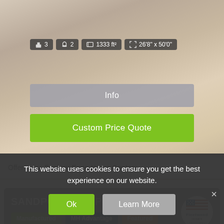[Figure (screenshot): Kitchen interior photo with stats bar showing 3 bedrooms, 2 bathrooms, 1333 ft², 26'8" x 50'0". Info button and Custom Price Quote button overlaid on image.]
Offered by: Factory Expo Home Centers
SANDPOINTE / SP28403A
Manufactured  MH Advantage  Featured
This website uses cookies to ensure you get the best experience on our website.
Ok  Learn More